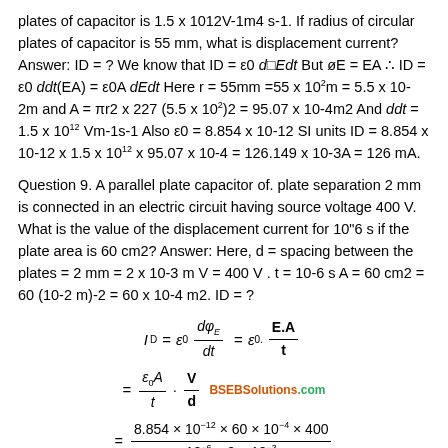plates of capacitor is 1.5 x 1012V-1m4 s-1. If radius of circular plates of capacitor is 55 mm, what is displacement current? Answer: ID = ? We know that ID = ε0 dΦEdt But øE = EA ∴ ID = ε0 ddt(EA) = ε0A dEdt Here r = 55mm =55 x 102m = 5.5 x 10-2m and A = πr2 x 227 (5.5 x 102)2 = 95.07 x 10-4m2 And ddt = 1.5 x 1012 Vm-1s-1 Also ε0 = 8.854 x 10-12 SI units ID = 8.854 x 10-12 x 1.5 x 1012 x 95.07 x 10-4 = 126.149 x 10-3A = 126 mA.
Question 9. A parallel plate capacitor of. plate separation 2 mm is connected in an electric circuit having source voltage 400 V. What is the value of the displacement current for 10"6 s if the plate area is 60 cm2? Answer: Here, d = spacing between the plates = 2 mm = 2 x 10-3 m V = 400 V . t = 10-6 s A = 60 cm2 = 60 (10-2 m)-2 = 60 x 10-4 m2. ID = ?